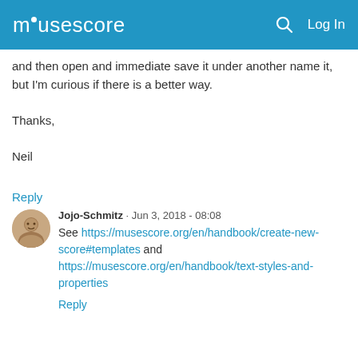musescore  Log In
and then open and immediate save it under another name it, but I'm curious if there is a better way.

Thanks,

Neil
Reply
Jojo-Schmitz · Jun 3, 2018 - 08:08
See https://musescore.org/en/handbook/create-new-score#templates and https://musescore.org/en/handbook/text-styles-and-properties
Reply
N_Bardot · Jun 3, 2018 - 21:10